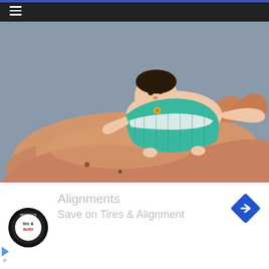≡
[Figure (photo): A hand holding a small miniature silicone reborn baby doll dressed in a teal/mint and white knitted outfit with a small pacifier, photographed against a grey background.]
mini silicone baby dolls
Silicone reborn baby boy full body
[Figure (infographic): Advertisement banner: Pep Boys tire & auto logo circle on left, blue navigation arrow diamond on right. Text: Alignments / Save on Tires & Alignment]